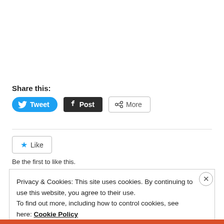Share this:
[Figure (screenshot): Social share buttons: Tweet (Twitter/blue), Post (Tumblr/black), More (share icon/white)]
[Figure (screenshot): Like button with star icon]
Be the first to like this.
Privacy & Cookies: This site uses cookies. By continuing to use this website, you agree to their use.
To find out more, including how to control cookies, see here: Cookie Policy
Close and accept